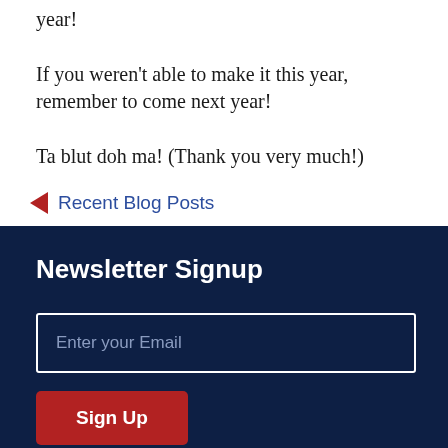year!
If you weren't able to make it this year, remember to come next year!
Ta blut doh ma! (Thank you very much!)
◀ Recent Blog Posts
Newsletter Signup
Enter your Email
Sign Up